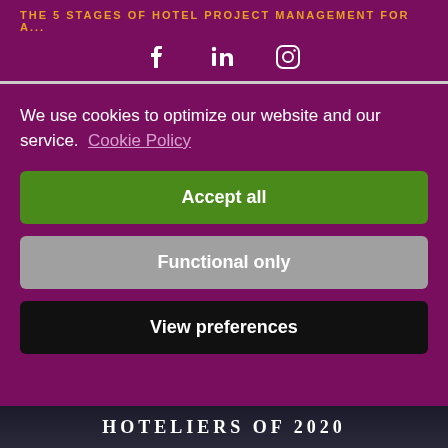THE 5 STAGES OF HOTEL PROJECT MANAGEMENT FOR A...
[Figure (other): Social media icons: Facebook, LinkedIn, Instagram]
We use cookies to optimize our website and our service. Cookie Policy
Accept all
Functional only
View preferences
HOTELIERS OF 2020